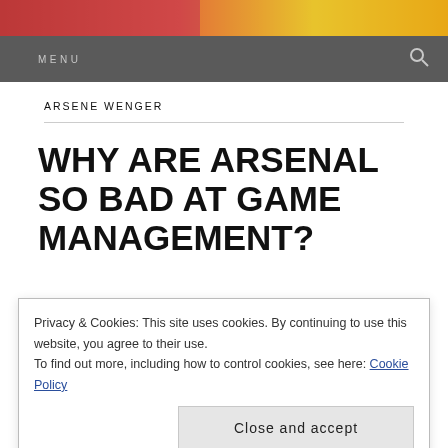[Figure (photo): Top banner image with red and yellow tones, partially cropped]
MENU
ARSENE WENGER
WHY ARE ARSENAL SO BAD AT GAME MANAGEMENT?
Sunday 27th October 2019. The Emirates Stadium in North London...
Privacy & Cookies: This site uses cookies. By continuing to use this website, you agree to their use.
To find out more, including how to control cookies, see here: Cookie Policy
Close and accept